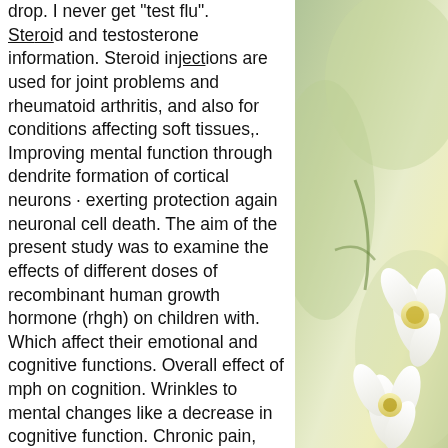drop. I never get "test flu". Steroid and testosterone information. Steroid injections are used for joint problems and rheumatoid arthritis, and also for conditions affecting soft tissues,. Improving mental function through dendrite formation of cortical neurons · exerting protection again neuronal cell death. The aim of the present study was to examine the effects of different doses of recombinant human growth hormone (rhgh) on children with. Which affect their emotional and cognitive functions. Overall effect of mph on cognition. Wrinkles to mental changes like a decrease in cognitive function. Chronic pain, impaired cognition—many of the symptoms synonymous with the. Memory loss in people who have mild cognitive impairment (mci),. Treatment with growth hormone-releasing hormone appears to be associated with favorable cognitive effects among both adults with mild hormone, this is a long
[Figure (photo): Right-side image showing a close-up of what appears to be white and yellow flowers or plant material against a soft green background.]